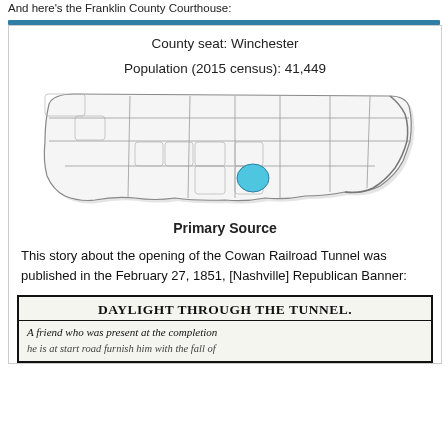And here's the Franklin County Courthouse:
County seat: Winchester
Population (2015 census): 41,449
[Figure (map): Map of Tennessee counties with Franklin County highlighted in blue, located in south-central Tennessee.]
Primary Source
This story about the opening of the Cowan Railroad Tunnel was published in the February 27, 1851, [Nashville] Republican Banner:
[Figure (photo): Scanned newspaper clipping with headline 'DAYLIGHT THROUGH THE TUNNEL.' and text beginning 'A friend who was present at the completion...']